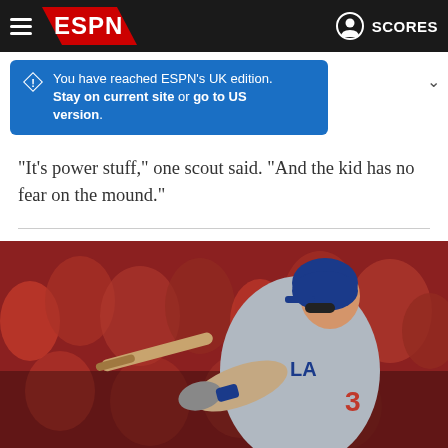ESPN navigation bar with hamburger menu, ESPN logo, user icon and SCORES
You have reached ESPN's UK edition. Stay on current site or go to US version.
"It's power stuff," one scout said. "And the kid has no fear on the mound."
[Figure (photo): A Los Angeles Dodgers baseball player wearing number 3 swinging a bat, with a crowd in red in the background.]